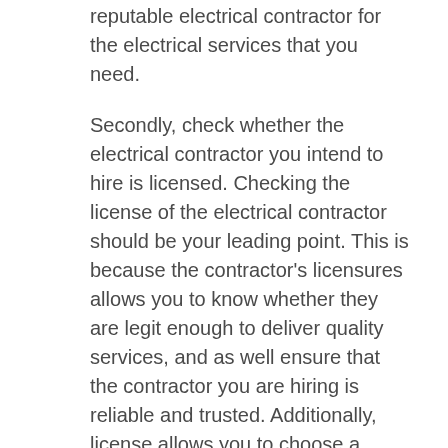reputable electrical contractor for the electrical services that you need.
Secondly, check whether the electrical contractor you intend to hire is licensed. Checking the license of the electrical contractor should be your leading point. This is because the contractor's licensures allows you to know whether they are legit enough to deliver quality services, and as well ensure that the contractor you are hiring is reliable and trusted. Additionally, license allows you to choose a contractor who is established within the law, hence the reason you should consider it.
When you are looking for the best electrical contractors to hire, consider checking whether they are insured. Whenever you are looking for the best contractor for the projects you want completed, ensure they are always insured. This is to ensure that any damages or injuries are well compensated to